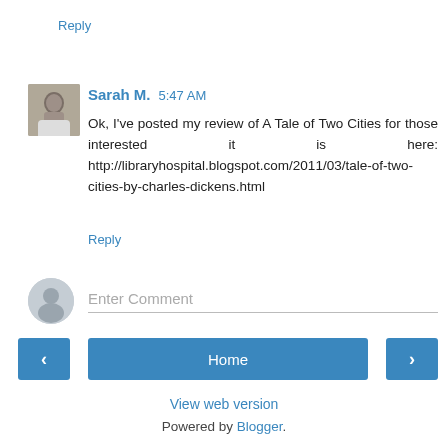Reply
[Figure (photo): Small avatar photo of Sarah M., a woman in a white top]
Sarah M.  5:47 AM
Ok, I've posted my review of A Tale of Two Cities for those interested it is here: http://libraryhospital.blogspot.com/2011/03/tale-of-two-cities-by-charles-dickens.html
Reply
Enter Comment
Home
View web version
Powered by Blogger.